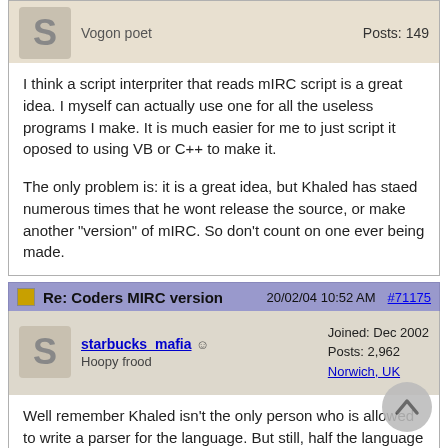S   Vogon poet   Posts: 149
I think a script interpriter that reads mIRC script is a great idea. I myself can actually use one for all the useless programs I make. It is much easier for me to just script it oposed to using VB or C++ to make it.

The only problem is: it is a great idea, but Khaled has staed numerous times that he wont release the source, or make another "version" of mIRC. So don't count on one ever being made.
Re: Coders MIRC version   20/02/04 10:52 AM   #71175
starbucks_mafia  Hoopy frood   Joined: Dec 2002  Posts: 2,962  Norwich, UK
Well remember Khaled isn't the only person who is allowed to write a parser for the language. But still, half the language would have no meaning outside of IRC, and the syntax itself (typeless, unquoted strings, etc.) doesn't lend itself to many programming tasks. Just because you don't use mIRC script doesn't mean you have to use a language like VB or C++, There are other, simpler languages such as PHP, Python, and Ruby which can do the things you